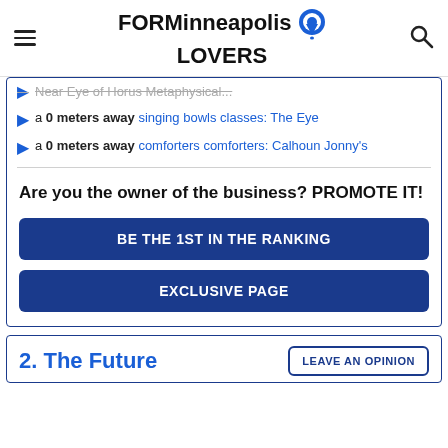FOR Minneapolis LOVERS
a 0 meters away singing bowls classes: The Eye
a 0 meters away comforters comforters: Calhoun Jonny's
Are you the owner of the business? PROMOTE IT!
BE THE 1ST IN THE RANKING
EXCLUSIVE PAGE
2. The Future
LEAVE AN OPINION